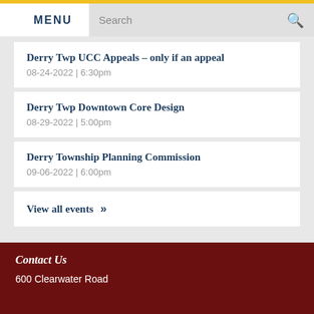MENU   Search
Derry Twp UCC Appeals – only if an appeal
08-24-2022 | 6:30pm
Derry Twp Downtown Core Design
08-29-2022 | 5:00pm
Derry Township Planning Commission
09-06-2022 | 6:00pm
View all events »
Contact Us
600 Clearwater Road